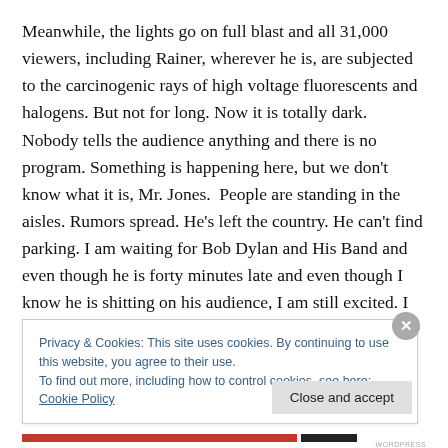Meanwhile, the lights go on full blast and all 31,000 viewers, including Rainer, wherever he is, are subjected to the carcinogenic rays of high voltage fluorescents and halogens. But not for long. Now it is totally dark. Nobody tells the audience anything and there is no program. Something is happening here, but we don't know what it is, Mr. Jones.  People are standing in the aisles. Rumors spread. He's left the country. He can't find parking. I am waiting for Bob Dylan and His Band and even though he is forty minutes late and even though I know he is shitting on his audience, I am still excited. I want to see him,
Privacy & Cookies: This site uses cookies. By continuing to use this website, you agree to their use.
To find out more, including how to control cookies, see here: Cookie Policy